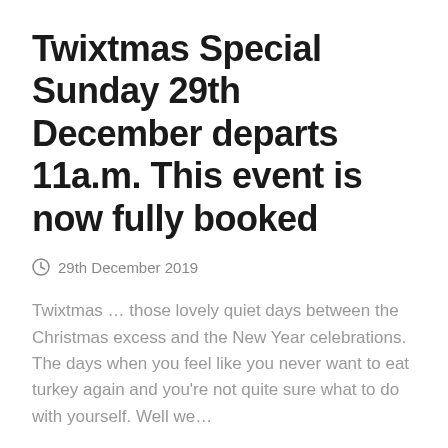Twixtmas Special Sunday 29th December departs 11a.m. This event is now fully booked
29th December 2019
Twixtmas … those lovely quiet days between the Christmas excess and the New Year celebrations. The days when you feel like you never want to eat turkey again and you're not quite sure what to do with yourself. Well we…
Read more